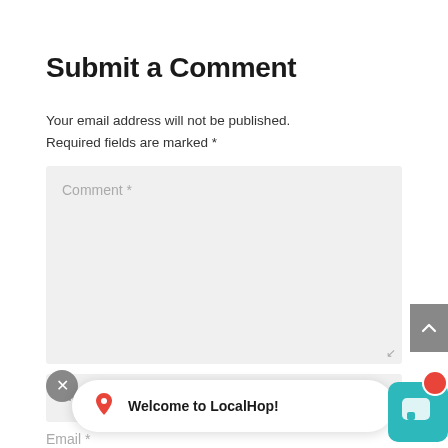Submit a Comment
Your email address will not be published. Required fields are marked *
[Figure (screenshot): Comment text area input field with placeholder text 'Comment *' and resize handle]
[Figure (screenshot): Name input field with placeholder text 'Name *']
[Figure (infographic): LocalHop notification popup with map pin icon and text 'Welcome to LocalHop!' on white rounded card, with close X button, and teal LocalHop chat widget button with red notification dot]
Email *